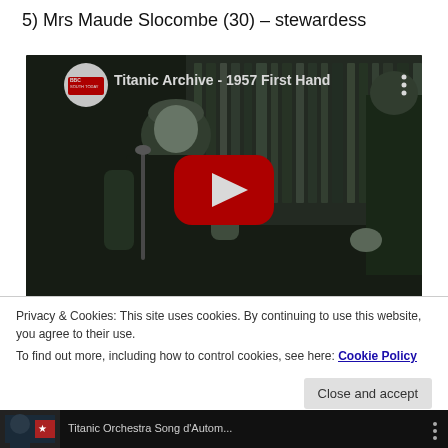5) Mrs Maude Slocombe (30) – stewardess
[Figure (screenshot): YouTube video thumbnail showing a black and white photograph of an elderly woman sitting in front of bookshelves, with a YouTube play button overlay. Video title: 'Titanic Archive - 1957 First Hand']
Privacy & Cookies: This site uses cookies. By continuing to use this website, you agree to their use.
To find out more, including how to control cookies, see here: Cookie Policy
[Figure (screenshot): Partial YouTube video thumbnail at bottom of page showing 'Titanic Orchestra Song d'Autom...' with three dots menu icon]